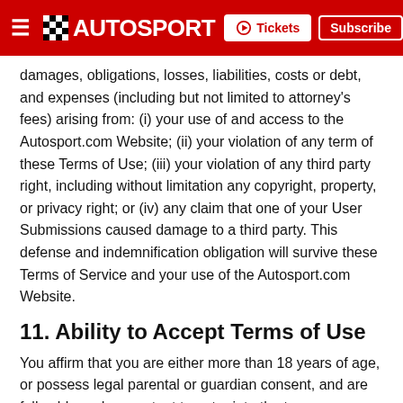AUTOSPORT | Tickets | Subscribe
damages, obligations, losses, liabilities, costs or debt, and expenses (including but not limited to attorney's fees) arising from: (i) your use of and access to the Autosport.com Website; (ii) your violation of any term of these Terms of Use; (iii) your violation of any third party right, including without limitation any copyright, property, or privacy right; or (iv) any claim that one of your User Submissions caused damage to a third party. This defense and indemnification obligation will survive these Terms of Service and your use of the Autosport.com Website.
11. Ability to Accept Terms of Use
You affirm that you are either more than 18 years of age, or possess legal parental or guardian consent, and are fully able and competent to enter into the terms, conditions, obligations, affirmations, representations, and warranties set forth in these Terms of Use, and to abide by and comply